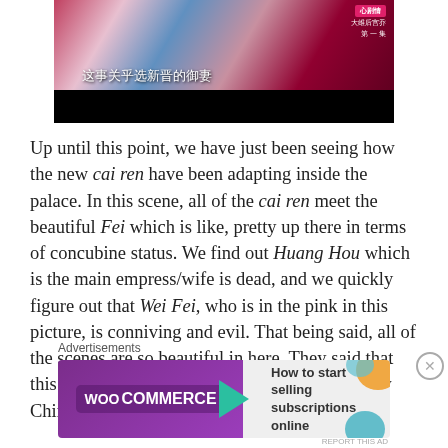[Figure (screenshot): Screenshot from a Chinese historical drama showing women in traditional imperial costumes with Chinese subtitle text reading '这事关乎选新晋的御妻' and a pink label in the upper right corner. Scene has ornate red and gold decor.]
Up until this point, we have just been seeing how the new cai ren have been adapting inside the palace. In this scene, all of the cai ren meet the beautiful Fei which is like, pretty up there in terms of concubine status. We find out Huang Hou which is the main empress/wife is dead, and we quickly figure out that Wei Fei, who is in the pink in this picture, is conniving and evil. That being said, all of the scenes are so beautiful in here. They said that this was the most expensive drama ever made by China. I definitely
Advertisements
[Figure (other): WooCommerce advertisement banner: purple background on left with WooCommerce logo and teal arrow, light grey background on right with text 'How to start selling subscriptions online' and orange/teal decorative shapes.]